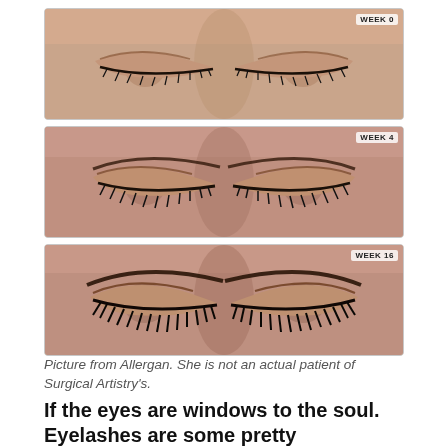[Figure (photo): Three stacked close-up photographs of a woman's closed eyes showing eyelash growth progression. Top image labeled WEEK 0, middle image labeled WEEK 4, bottom image labeled WEEK 16. Each image shows increasing eyelash length and fullness over time. Images sourced from Allergan.]
Picture from Allergan. She is not an actual patient of Surgical Artistry's.
If the eyes are windows to the soul. Eyelashes are some pretty